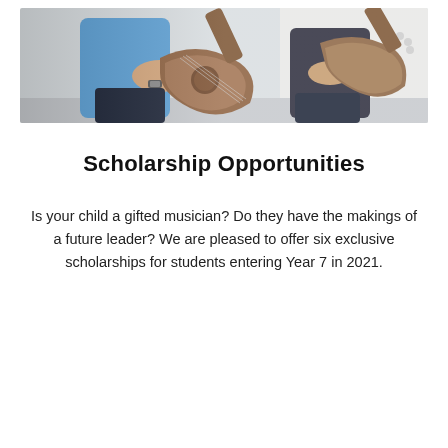[Figure (photo): Two people playing acoustic guitars, one wearing a blue shirt and a watch, seated; close-up showing hands on guitar necks and bodies.]
Scholarship Opportunities
Is your child a gifted musician? Do they have the makings of a future leader? We are pleased to offer six exclusive scholarships for students entering Year 7 in 2021.